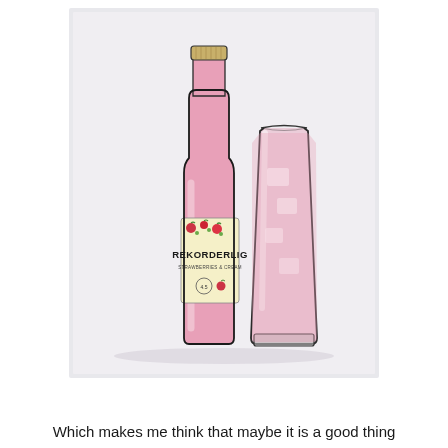[Figure (illustration): Watercolor and ink sketch illustration of a Rekorderlig strawberry cider bottle (pink, with a label showing strawberries and the brand name REKORDERLIG) alongside a tall glass filled with pink iced drink.]
Which makes me think that maybe it is a good thing